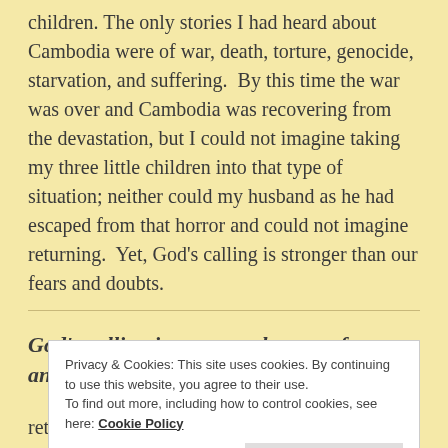children. The only stories I had heard about Cambodia were of war, death, torture, genocide, starvation, and suffering. By this time the war was over and Cambodia was recovering from the devastation, but I could not imagine taking my three little children into that type of situation; neither could my husband as he had escaped from that horror and could not imagine returning. Yet, God's calling is stronger than our fears and doubts.
God's calling is stronger than our fears and
Privacy & Cookies: This site uses cookies. By continuing to use this website, you agree to their use. To find out more, including how to control cookies, see here: Cookie Policy
return to Cambodia safely before dragging his